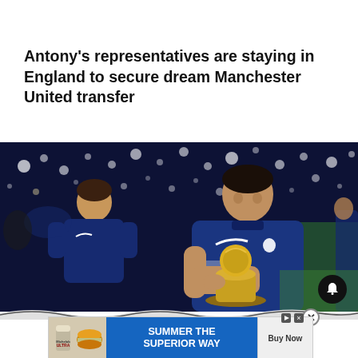Antony's representatives are staying in England to secure dream Manchester United transfer
[Figure (photo): Football player in blue France national team kit holding a gold World Cup trophy replica, smiling, with stadium crowd and lights in background. Another French player visible behind him.]
[Figure (infographic): Advertisement banner: beer brand 'Michelob Ultra' on left with a burger image, center blue panel reads 'SUMMER THE SUPERIOR WAY', right panel has 'Buy Now' button. Above the ad is a wavy decorative divider and a notification bell icon button. A close (X) button appears in the top right corner of the ad area.]